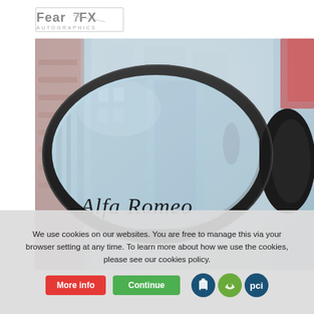[Figure (logo): FearFX Autographics logo in grey/silver metallic style text]
[Figure (photo): Close-up photograph of a car side mirror showing an Alfa Romeo script decal on the mirror glass, with blurred background of brick wall and building]
We use cookies on our websites. You are free to manage this via your browser setting at any time. To learn more about how we use the cookies, please see our cookies policy.
More info
Continue